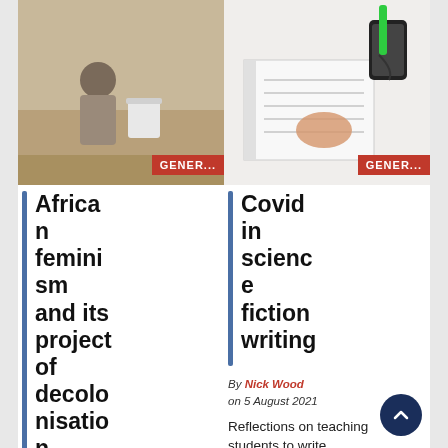[Figure (photo): Person crouching near a white bucket on sandy ground, wearing grey clothing]
GENER...
[Figure (photo): Person writing in a spiral notebook with a smartphone and green marker nearby on a white surface]
GENER...
African feminism and its project of decolonisation
By Sarah Setlaelo on 9 August 2021
Covid in science fiction writing
By Nick Wood on 5 August 2021
Reflections on teaching students to write